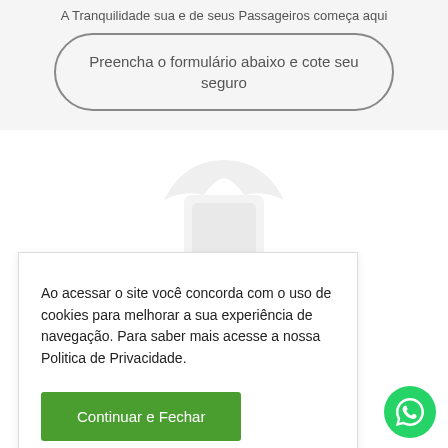A Tranquilidade sua e de seus Passageiros começa aqui
Preencha o formulário abaixo e cote seu seguro
Ao acessar o site você concorda com o uso de cookies para melhorar a sua experiência de navegação. Para saber mais acesse a nossa Politica de Privacidade.
Continuar e Fechar
[Figure (illustration): Faint grey umbrella/shield background shape]